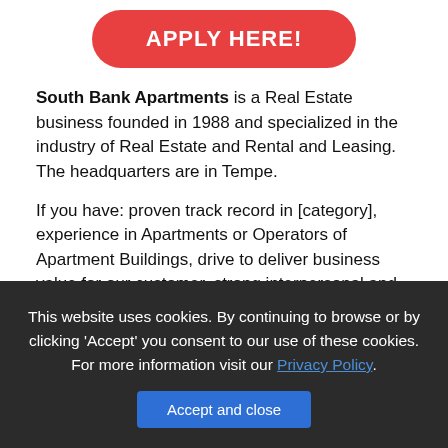[Figure (other): Red rounded rectangle button with text APPLY HERE!]
South Bank Apartments is a Real Estate business founded in 1988 and specialized in the industry of Real Estate and Rental and Leasing. The headquarters are in Tempe.
If you have: proven track record in [category], experience in Apartments or Operators of Apartment Buildings, drive to deliver business value for our customer, strong interpersonal and communication
This website uses cookies. By continuing to browse or by clicking 'Accept' you consent to our use of these cookies. For more information visit our Privacy Policy.
[Figure (other): Blue button labeled Accept and close]